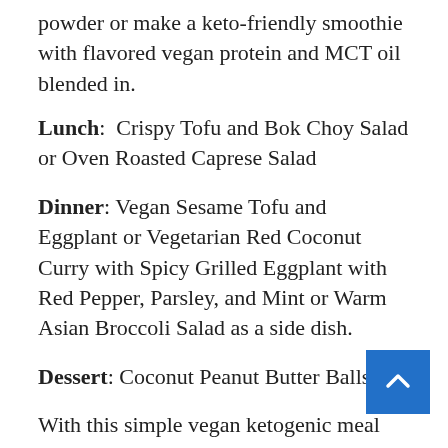powder or make a keto-friendly smoothie with flavored vegan protein and MCT oil blended in.
Lunch: Crispy Tofu and Bok Choy Salad or Oven Roasted Caprese Salad
Dinner: Vegan Sesame Tofu and Eggplant or Vegetarian Red Coconut Curry with Spicy Grilled Eggplant with Red Pepper, Parsley, and Mint or Warm Asian Broccoli Salad as a side dish.
Dessert: Coconut Peanut Butter Balls
With this simple vegan ketogenic meal plan template, you may be able to make a full week's worth of meals for one. If you'd like to get more creative, check out Ruled.me's recipe page for some veganize-able keto dishes.
There is, however, one vitally important caveat. It is hard to show you the keto macros associated with...